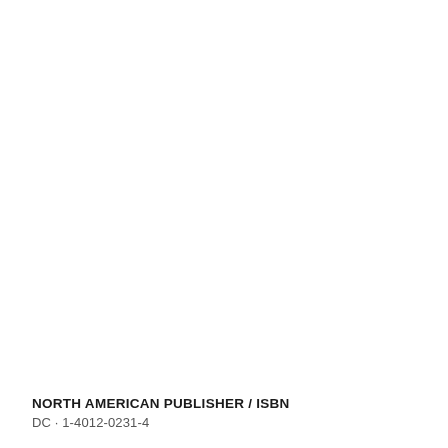NORTH AMERICAN PUBLISHER / ISBN
DC · 1-4012-0231-4